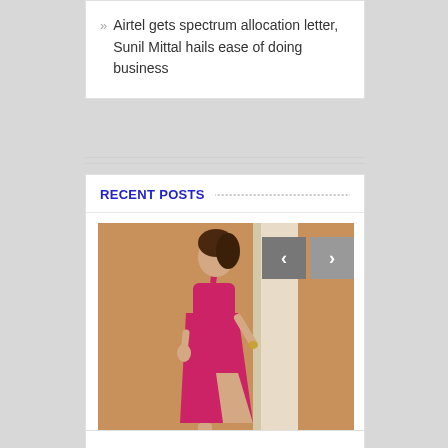Airtel gets spectrum allocation letter, Sunil Mittal hails ease of doing business
RECENT POSTS
[Figure (photo): A woman in a pink/magenta evening gown with a high slit, standing in front of a pillar with a decorative background and balloons]